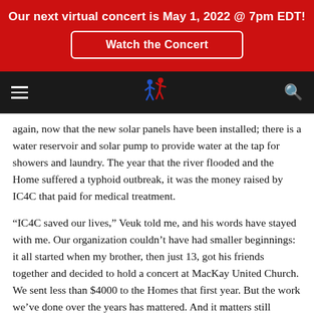Our next virtual concert is May 1, 2022 @ 7pm EDT!
Watch the Concert
[Figure (logo): IC4C organization logo with dancing figures in blue and red]
again, now that the new solar panels have been installed; there is a water reservoir and solar pump to provide water at the tap for showers and laundry. The year that the river flooded and the Home suffered a typhoid outbreak, it was the money raised by IC4C that paid for medical treatment.
“IC4C saved our lives,” Veuk told me, and his words have stayed with me. Our organization couldn’t have had smaller beginnings: it all started when my brother, then just 13, got his friends together and decided to hold a concert at MacKay United Church. We sent less than $4000 to the Homes that first year. But the work we’ve done over the years has mattered. And it matters still